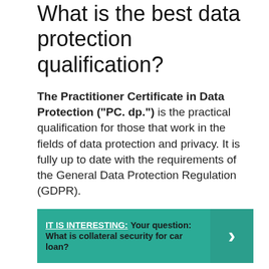What is the best data protection qualification?
The Practitioner Certificate in Data Protection (“PC. dp.”) is the practical qualification for those that work in the fields of data protection and privacy. It is fully up to date with the requirements of the General Data Protection Regulation (GDPR).
IT IS INTERESTING: Your question: What is collateral security for car loan?
What should data protection training include?
However, there are a few basic concepts…